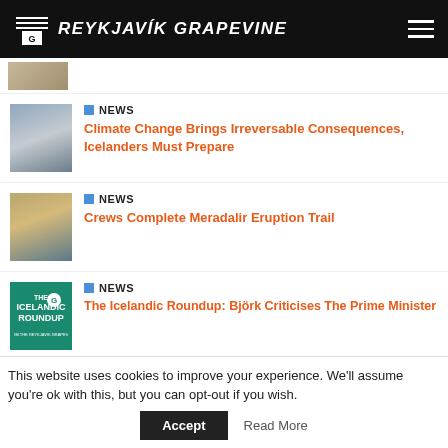THE G REYKJAVÍK GRAPEVINE
[Figure (photo): Partial thumbnail of an article at top, cut off]
NEWS
Climate Change Brings Irreversable Consequences, Icelanders Must Prepare
NEWS
Crews Complete Meradalir Eruption Trail
NEWS
The Icelandic Roundup: Björk Criticises The Prime Minister
This website uses cookies to improve your experience. We'll assume you're ok with this, but you can opt-out if you wish. Accept Read More